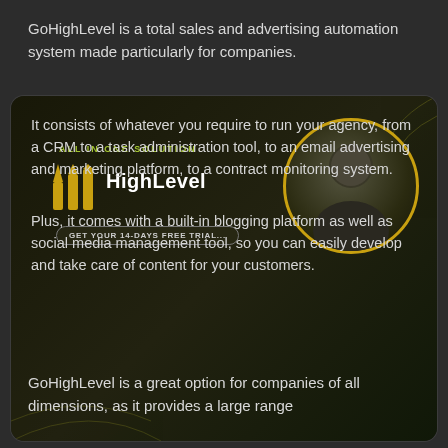GoHighLevel is a total sales and advertising automation system made particularly for companies.
[Figure (screenshot): A HighLevel 'All In One Solution' advertisement banner with the HighLevel logo, upward arrow icons, a circular portrait of a person, and a 'GET YOUR 14-DAYS FREE TRIAL' call-to-action button on a dark background.]
It consists of whatever you require to run your agency, from a CRM to a task administration tool, to an email advertising and marketing platform, to a contract monitoring system.
Plus, it comes with a built-in blogging platform as well as social media management tool, so you can easily develop and take care of content for your customers.
GoHighLevel is a great option for companies of all dimensions, as it provides a large range